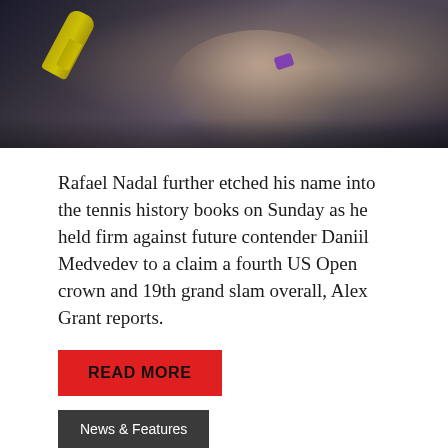[Figure (photo): Rafael Nadal celebrating with arms outstretched on a tennis court, wearing dark sleeveless shirt and purple wristband, holding a tennis racket]
Rafael Nadal further etched his name into the tennis history books on Sunday as he held firm against future contender Daniil Medvedev to a claim a fourth US Open crown and 19th grand slam overall, Alex Grant reports.
READ MORE
News & Features
'LA DUODÉCIMA' IS THE CRY AS NADAL WRITES YET MORE FRENCH OPEN HISTORY